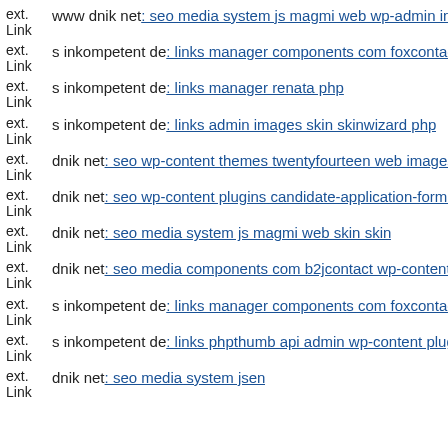ext. Link www dnik net: seo media system js magmi web wp-admin incl
ext. Link s inkompetent de: links manager components com foxcontact li
ext. Link s inkompetent de: links manager renata php
ext. Link s inkompetent de: links admin images skin skinwizard php
ext. Link dnik net: seo wp-content themes twentyfourteen web images st
ext. Link dnik net: seo wp-content plugins candidate-application-form w
ext. Link dnik net: seo media system js magmi web skin skin
ext. Link dnik net: seo media components com b2jcontact wp-content the
ext. Link s inkompetent de: links manager components com foxcontact li
ext. Link s inkompetent de: links phpthumb api admin wp-content plugin
ext. Link dnik net: seo media system jsen